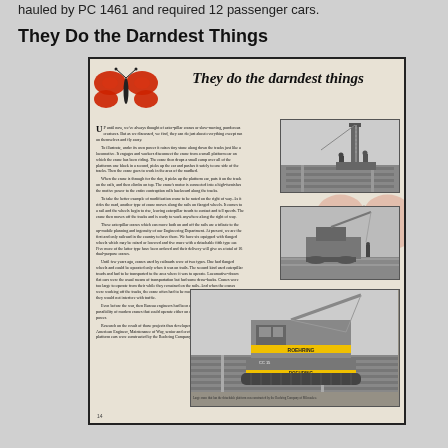hauled by PC 1461 and required 12 passenger cars.
They Do the Darndest Things
[Figure (photo): Reproduction of a magazine article page titled 'They do the darndest things' featuring a decorative red butterfly illustration, two black-and-white photographs of railway crane equipment on tracks (top right and middle right), and a large photograph of a Roehring crawler crane on railway tracks (bottom center). The article text discusses modern railway cranes that can move both on and off rails, referencing the Engineering Department and Roehring Company of Milwaukee.]